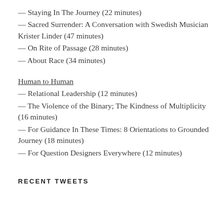— Staying In The Journey (22 minutes)
— Sacred Surrender: A Conversation with Swedish Musician Krister Linder (47 minutes)
— On Rite of Passage (28 minutes)
— About Race (34 minutes)
Human to Human
— Relational Leadership (12 minutes)
— The Violence of the Binary; The Kindness of Multiplicity (16 minutes)
— For Guidance In These Times: 8 Orientations to Grounded Journey (18 minutes)
— For Question Designers Everywhere (12 minutes)
RECENT TWEETS